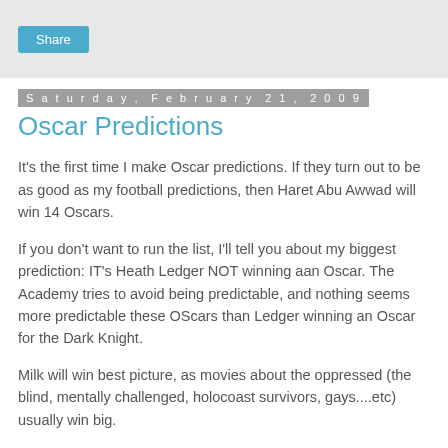Share
Saturday, February 21, 2009
Oscar Predictions
It's the first time I make Oscar predictions. If they turn out to be as good as my football predictions, then Haret Abu Awwad will win 14 Oscars.
If you don't want to run the list, I'll tell you about my biggest prediction: IT's Heath Ledger NOT winning aan Oscar. The Academy tries to avoid being predictable, and nothing seems more predictable these OScars than Ledger winning an Oscar for the Dark Knight.
Milk will win best picture, as movies about the oppressed (the blind, mentally challenged, holocoast survivors, gays....etc) usually win big.
This is my list, expect this post to be deleted by Monday morning.